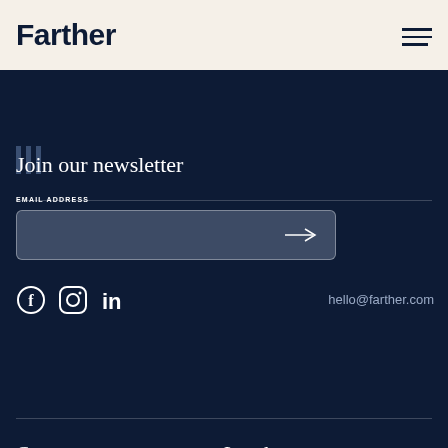Farther
Join our newsletter
EMAIL ADDRESS
hello@farther.com
Company
Legal